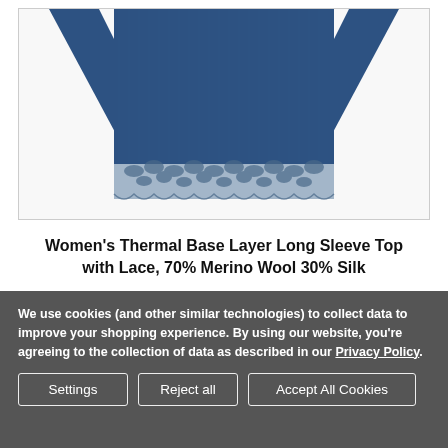[Figure (photo): Photo of a women's navy blue thermal base layer long sleeve top with lace trim at the bottom hem, shown on a white background with a light border.]
Women's Thermal Base Layer Long Sleeve Top with Lace, 70% Merino Wool 30% Silk
We use cookies (and other similar technologies) to collect data to improve your shopping experience. By using our website, you're agreeing to the collection of data as described in our Privacy Policy.